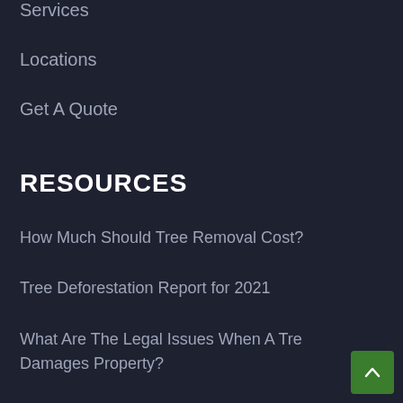Services
Locations
Get A Quote
RESOURCES
How Much Should Tree Removal Cost?
Tree Deforestation Report for 2021
What Are The Legal Issues When A Tree Damages Property?